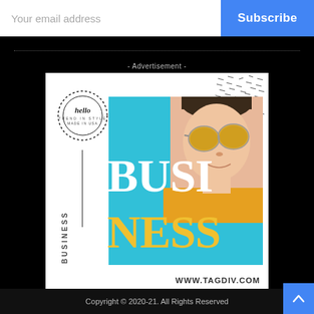Your email address
Subscribe
- Advertisement -
[Figure (infographic): Business advertisement banner showing a woman with yellow sunglasses and a yellow sweater against a cyan/teal background. Large text reads 'BUSINESS' split across two lines with 'BUST' in white and 'NESS' in gold/yellow. Includes a circular logo, decorative dot pattern, vertical 'BUSINESS' text, and URL www.tagdiv.com.]
Copyright © 2020-21. All Rights Reserved